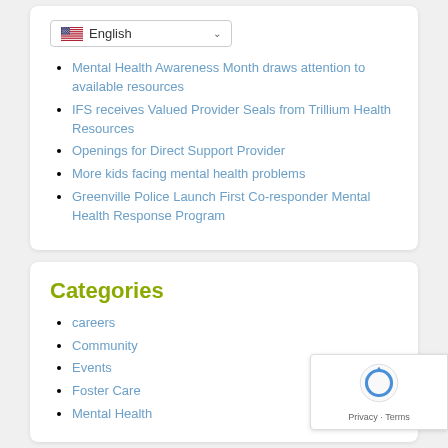[Figure (screenshot): Language selector dropdown showing US flag and 'English' text with chevron]
Mental Health Awareness Month draws attention to available resources
IFS receives Valued Provider Seals from Trillium Health Resources
Openings for Direct Support Provider
More kids facing mental health problems
Greenville Police Launch First Co-responder Mental Health Response Program
Categories
careers
Community
Events
Foster Care
Mental Health